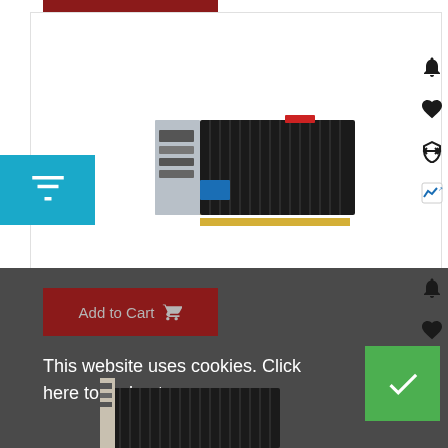[Figure (photo): ASUS GT730 graphics card product photo on white background]
€92.41
ASUS GT730-SL-2GD5-BRK NVIDIA GeForce GT 730 2 GB GDDR5
Add to Cart
This website uses cookies. Click here to find out more.
[Figure (photo): Partial view of second product (graphics card) at bottom of page]